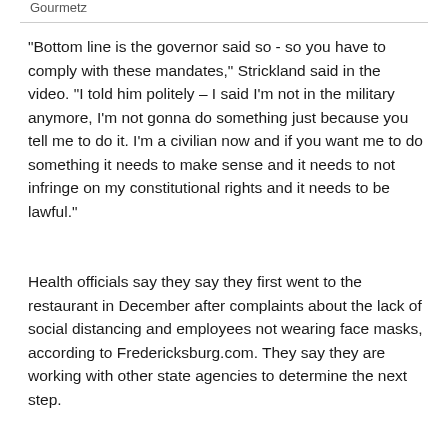Gourmetz
"Bottom line is the governor said so - so you have to comply with these mandates," Strickland said in the video. "I told him politely – I said I'm not in the military anymore, I'm not gonna do something just because you tell me to do it. I'm a civilian now and if you want me to do something it needs to make sense and it needs to not infringe on my constitutional rights and it needs to be lawful."
Health officials say they say they first went to the restaurant in December after complaints about the lack of social distancing and employees not wearing face masks, according to Fredericksburg.com. They say they are working with other state agencies to determine the next step.